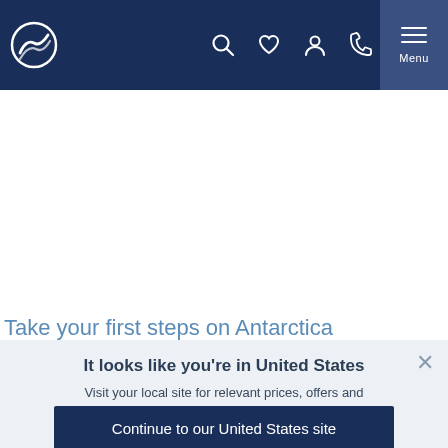[Figure (logo): White circular logo with stylized wave/mountain icon on dark navy navigation bar]
Navigation bar with logo, search, favorites, account, phone icons and Menu button
Take your first steps on Antarctica
It looks like you're in United States
Visit your local site for relevant prices, offers and information.
Continue to our United States site